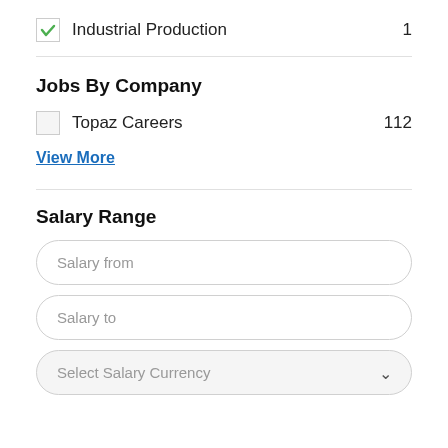Industrial Production   1
Jobs By Company
Topaz Careers   112
View More
Salary Range
Salary from
Salary to
Select Salary Currency